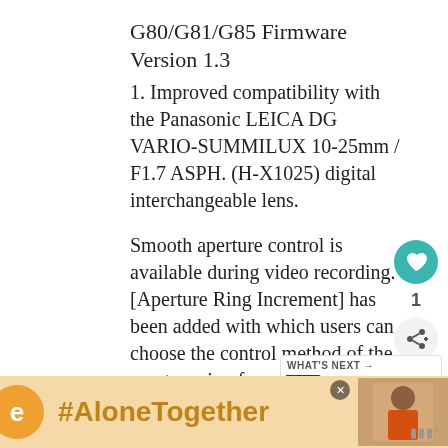G80/G81/G85 Firmware Version 1.3
1. Improved compatibility with the Panasonic LEICA DG VARIO-SUMMILUX 10-25mm / F1.7 ASPH. (H-X1025) digital interchangeable lens.
Smooth aperture control is available during video recording.
[Aperture Ring Increment] has been added with which users can choose the control method of the aperture ring from [SMOOTH] or [1/3EV] during photo shooting.
[Figure (infographic): Social sidebar with heart/like button (teal circle) showing count 1, and share button]
[Figure (infographic): WHAT'S NEXT widget showing Firmware updates for... with camera thumbnail]
[Figure (infographic): Ad banner: orange circle with E logo, #AloneTogether hashtag in orange on yellow background, photo of woman, close button, Meredith logo]